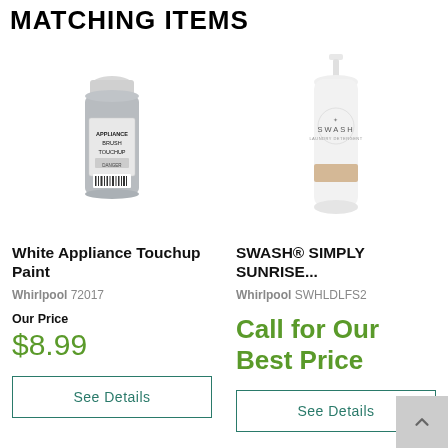MATCHING ITEMS
[Figure (photo): White Appliance Touchup Paint bottle — small cylindrical bottle with white cap, grey/silver body with a label reading APPLIANCE BRUSH TOUCHUP]
White Appliance Touchup Paint
Whirlpool 72017
Our Price
$8.99
See Details
[Figure (photo): SWASH Simply Sunrise laundry detergent — tall white bottle with small white pump cap and a SWASH logo with decorative snowflake-like star design, beige label stripe]
SWASH® SIMPLY SUNRISE...
Whirlpool SWHLDLFS2
Call for Our Best Price
See Details